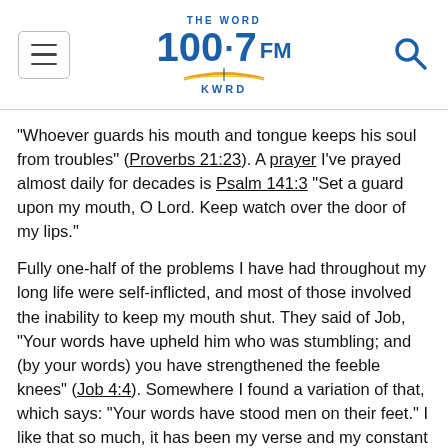THE WORD 100.7 FM KWRD
“Whoever guards his mouth and tongue keeps his soul from troubles” (Proverbs 21:23). A prayer I’ve prayed almost daily for decades is Psalm 141:3 “Set a guard upon my mouth, O Lord. Keep watch over the door of my lips.”
Fully one-half of the problems I have had throughout my long life were self-inflicted, and most of those involved the inability to keep my mouth shut. They said of Job, “Your words have upheld him who was stumbling; and (by your words) you have strengthened the feeble knees” (Job 4:4). Somewhere I found a variation of that, which says: “Your words have stood men on their feet.” I like that so much, it has been my verse and my constant prayer. (We’ve all seen the power of words to knock people off their feet! The stories we could tell! But here and there among us, you will find those golden